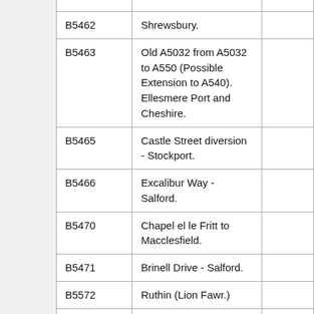| B5462 | Shrewsbury. |  |
| B5463 | Old A5032 from A5032 to A550 (Possible Extension to A540). Ellesmere Port and Cheshire. |  |
| B5465 | Castle Street diversion - Stockport. |  |
| B5466 | Excalibur Way - Salford. |  |
| B5470 | Chapel el le Fritt to Macclesfield. |  |
| B5471 | Brinell Drive - Salford. |  |
| B5572 | Ruthin (Lion Fawr.) |  |
| B5373 | Gresford - Plas Llay - Hope. |  |
| B5476 | Harmerhill - Wem - |  |